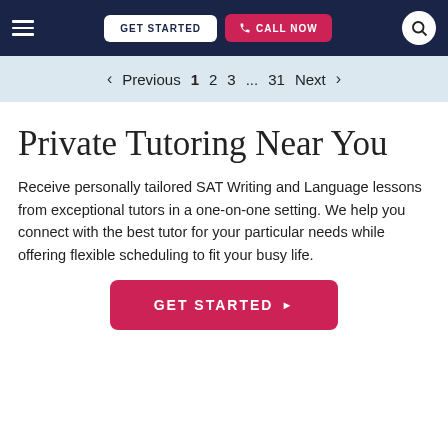≡  GET STARTED  📞 CALL NOW  🔍
< Previous  1  2  3  ...  31  Next >
Private Tutoring Near You
Receive personally tailored SAT Writing and Language lessons from exceptional tutors in a one-on-one setting. We help you connect with the best tutor for your particular needs while offering flexible scheduling to fit your busy life.
GET STARTED ▶